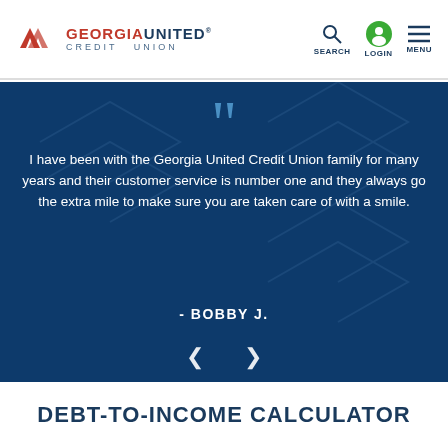[Figure (logo): Georgia United Credit Union logo with red chevron icon and text]
[Figure (infographic): Navigation icons: search magnifier, login person icon (green circle), menu hamburger lines with labels SEARCH, LOGIN, MENU]
I have been with the Georgia United Credit Union family for many years and their customer service is number one and they always go the extra mile to make sure you are taken care of with a smile.
- BOBBY J.
DEBT-TO-INCOME CALCULATOR